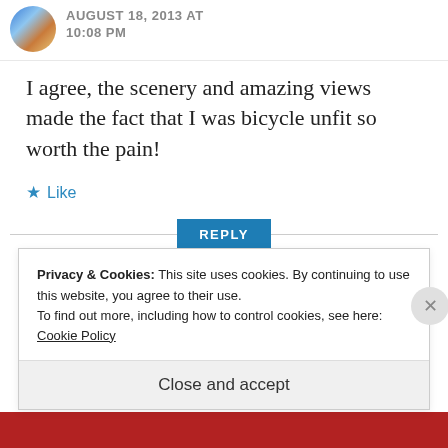AUGUST 18, 2013 AT 10:08 PM
I agree, the scenery and amazing views made the fact that I was bicycle unfit so worth the pain!
★ Like
REPLY
Privacy & Cookies: This site uses cookies. By continuing to use this website, you agree to their use.
To find out more, including how to control cookies, see here: Cookie Policy
Close and accept